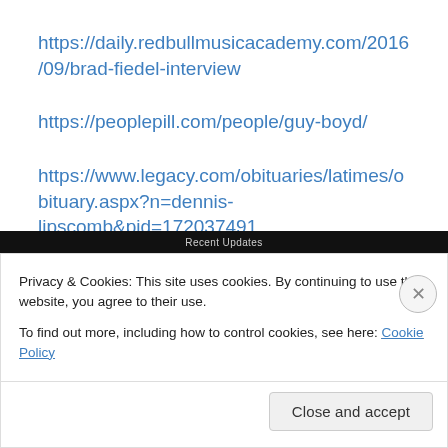https://daily.redbullmusicacademy.com/2016/09/brad-fiedel-interview
https://peoplepill.com/people/guy-boyd/
https://www.legacy.com/obituaries/latimes/obituary.aspx?n=dennis-lipscomb&pid=172037491
Privacy & Cookies: This site uses cookies. By continuing to use this website, you agree to their use.
To find out more, including how to control cookies, see here: Cookie Policy
Close and accept